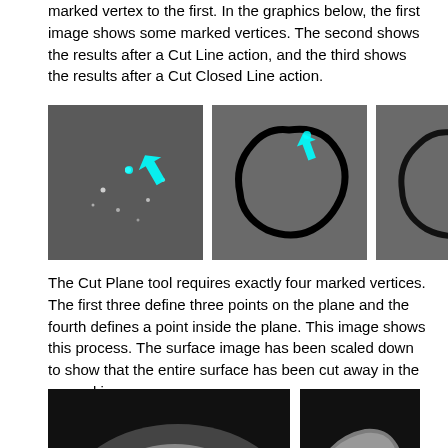marked vertex to the first. In the graphics below, the first image shows some marked vertices. The second shows the results after a Cut Line action, and the third shows the results after a Cut Closed Line action.
[Figure (screenshot): Three side-by-side screenshots: first shows scattered white dots and a cyan arrow on dark grey background; second shows a black closed-loop shape on dark grey with a cyan arrow at top; third shows similar black loop shape on dark grey with a cyan arrow at top.]
The Cut Plane tool requires exactly four marked vertices. The first three define three points on the plane and the fourth defines a point inside the plane. This image shows this process. The surface image has been scaled down to show that the entire surface has been cut away in the second image.
[Figure (screenshot): Two screenshots: large image shows a smooth grey 3D blob/surface with white and cyan dot markers on black background; smaller image to the right shows a small grey plane/surface remnant with a green dot on black background.]